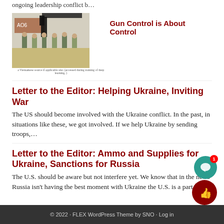ongoing leadership conflict b…
[Figure (photo): A person holding a weapon in a shooting range with several people lined up in military gear in the background]
Gun Control is About Control
caption text below image
Letter to the Editor: Helping Ukraine, Inviting War
The US should become involved with the Ukraine conflict. In the past, in situations like these, we got involved. If we help Ukraine by sending troops,...
Letter to the Editor: Ammo and Supplies for Ukraine, Sanctions for Russia
The U.S. should be aware but not interfere yet. We know that in the news Russia isn't having the best moment with Ukraine the U.S. is a part of ...
© 2022 · FLEX WordPress Theme by SNO · Log in